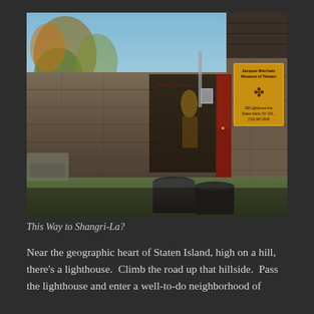[Figure (photo): Exterior stone wall of the Jacques Marchais Museum of Tibetan Art on Staten Island. A yellow sign with the museum name, a Tibetan symbol, address (338 Lighthouse Ave, Staten Island, NY) and phone number is visible on the right. A dark red door is visible. Trash cans sit near the entrance. Trees and blue sky are in the background.]
This Way to Shangri-La?
Near the geographic heart of Staten Island, high on a hill, there's a lighthouse.  Climb the road up that hillside.  Pass the lighthouse and enter a well-to-do neighborhood of